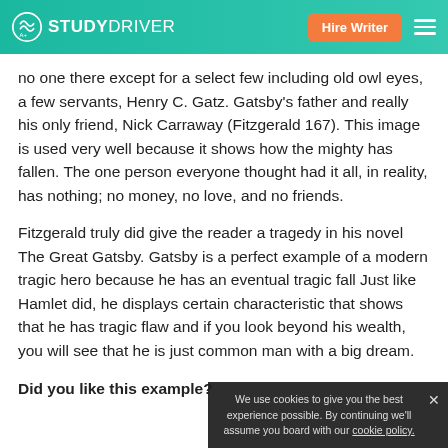STUDYDRIVER | Hire Writer
no one there except for a select few including old owl eyes, a few servants, Henry C. Gatz. Gatsby's father and really his only friend, Nick Carraway (Fitzgerald 167). This image is used very well because it shows how the mighty has fallen. The one person everyone thought had it all, in reality, has nothing; no money, no love, and no friends.
Fitzgerald truly did give the reader a tragedy in his novel The Great Gatsby. Gatsby is a perfect example of a modern tragic hero because he has an eventual tragic fall Just like Hamlet did, he displays certain characteristic that shows that he has tragic flaw and if you look beyond his wealth, you will see that he is just common man with a big dream.
Did you like this example?
We use cookies to give you the best experience possible. By continuing we'll assume you board with our cookie policy.